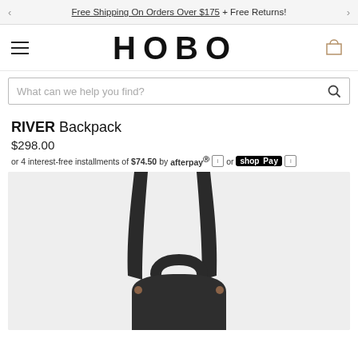Free Shipping On Orders Over $175 + Free Returns!
[Figure (logo): HOBO brand logo with hamburger menu and cart icon]
What can we help you find?
RIVER Backpack
$298.00
or 4 interest-free installments of $74.50 by afterpay or shop Pay
[Figure (photo): Top-down view of a dark navy/black RIVER backpack showing two shoulder straps and top handle on a light gray background]